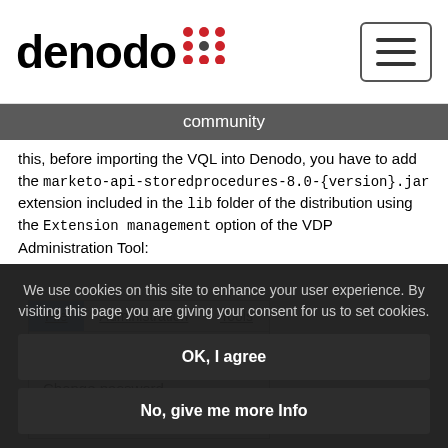denodo community
this, before importing the VQL into Denodo, you have to add the marketo-api-storedprocedures-8.0-{version}.jar extension included in the lib folder of the distribution using the Extension management option of the VDP Administration Tool:
[Figure (screenshot): VDP Administration Tool UI showing File, Administration, Tools menu bar with New... and Change password dropdown items]
We use cookies on this site to enhance your user experience. By visiting this page you are giving your consent for us to set cookies.
OK, I agree
No, give me more Info